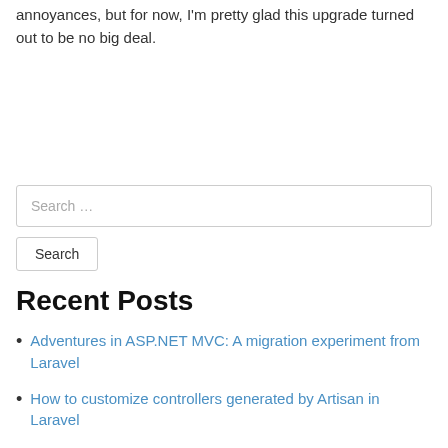annoyances, but for now, I'm pretty glad this upgrade turned out to be no big deal.
Search …
Search
Recent Posts
Adventures in ASP.NET MVC: A migration experiment from Laravel
How to customize controllers generated by Artisan in Laravel